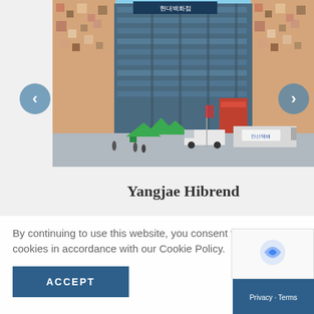[Figure (photo): Exterior photo of Yangjae Hibrend shopping complex in Korea. Large glass commercial building with colorful mosaic-tiled walls on left and right sides. Green market tents and trucks visible at ground level. Blue sky visible above.]
Yangjae Hibrend
By continuing to use this website, you consent to the use of cookies in accordance with our Cookie Policy.
ACCEPT
Privacy · Terms